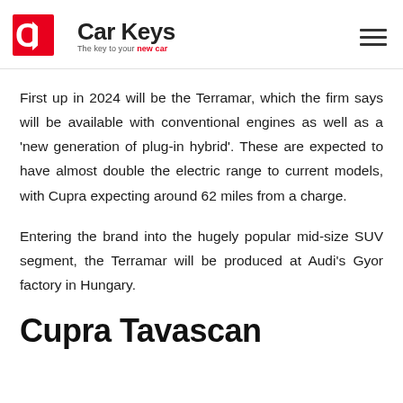Car Keys — The key to your new car
First up in 2024 will be the Terramar, which the firm says will be available with conventional engines as well as a 'new generation of plug-in hybrid'. These are expected to have almost double the electric range to current models, with Cupra expecting around 62 miles from a charge.
Entering the brand into the hugely popular mid-size SUV segment, the Terramar will be produced at Audi's Gyor factory in Hungary.
Cupra Tavascan